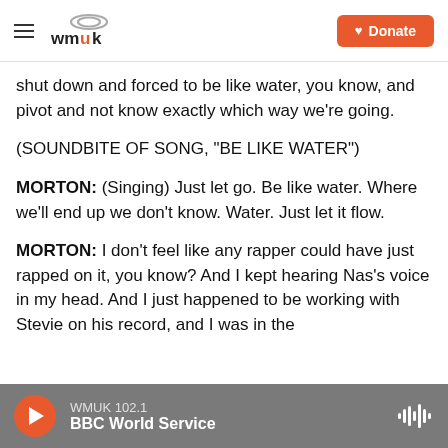wmuk | Donate
shut down and forced to be like water, you know, and pivot and not know exactly which way we're going.
(SOUNDBITE OF SONG, "BE LIKE WATER")
MORTON: (Singing) Just let go. Be like water. Where we'll end up we don't know. Water. Just let it flow.
MORTON: I don't feel like any rapper could have just rapped on it, you know? And I kept hearing Nas's voice in my head. And I just happened to be working with Stevie on his record, and I was in the
WMUK 102.1 BBC World Service